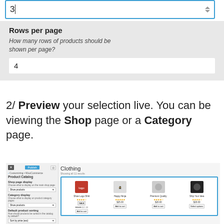[Figure (screenshot): Input field with value '3' and spinner arrows, highlighted with blue border]
Rows per page
How many rows of products should be shown per page?
[Figure (screenshot): Input field showing value '4']
2/ Preview your selection live. You can be viewing the Shop page or a Category page.
[Figure (screenshot): WooCommerce Product Catalog customizer panel on the left showing shop page display, category display, default product sorting, and products per row settings. On the right, a Clothing product category page showing 4 t-shirt products in a row highlighted with a blue border: Shoe Logo Shirt, Happy Ninja, Premium Quality, Ship Your Idea.]